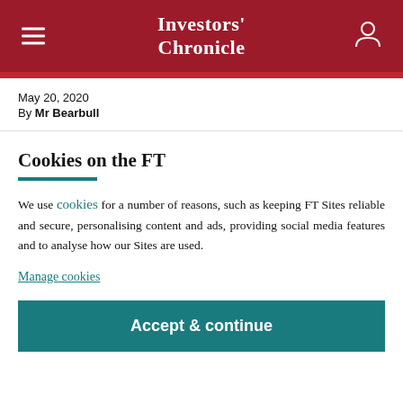Investors' Chronicle
May 20, 2020
By Mr Bearbull
Cookies on the FT
We use cookies for a number of reasons, such as keeping FT Sites reliable and secure, personalising content and ads, providing social media features and to analyse how our Sites are used.
Manage cookies
Accept & continue